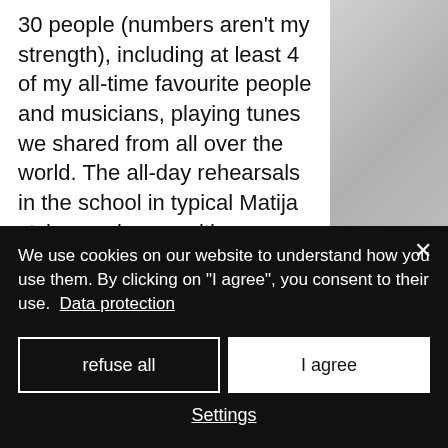30 people (numbers aren't my strength), including at least 4 of my all-time favourite people and musicians, playing tunes we shared from all over the world. The all-day rehearsals in the school in typical Matija style, coming up with a new thing to learn or do every about 10 minutes, throwing over the whole programme. The many times I got lost in Umea, which had me not trust
[Figure (photo): Gray textured surface, right column of the page]
We use cookies on our website to understand how you use them. By clicking on "I agree", you consent to their use. Data protection
refuse all
I agree
Settings